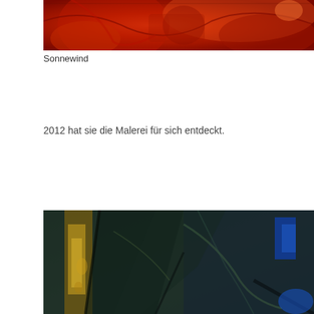[Figure (photo): Abstract painting in deep red/orange tones with circular and organic shapes, partially visible at top of page]
Sonnewind
2012 hat sie die Malerei für sich entdeckt.
[Figure (photo): Abstract painting in dark teal, blue, black and yellow tones with textured, layered brushwork]